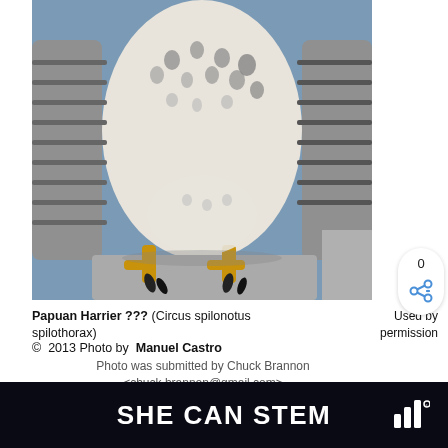[Figure (photo): Close-up photograph of a Papuan Harrier bird (Circus spilonotus spilothorax) perched on a ledge, showing its white and spotted breast feathers, yellow talons gripping the edge, and wings visible on either side. Blue sky in the background.]
Papuan Harrier ??? (Circus spilonotus spilothorax)
Used by permission
© 2013 Photo by Manuel Castro
Photo was submitted by Chuck Brannon <chuck.brannon@gmail.com>
[Figure (logo): SHE CAN STEM banner with logo on dark background]
SHE CAN STEM